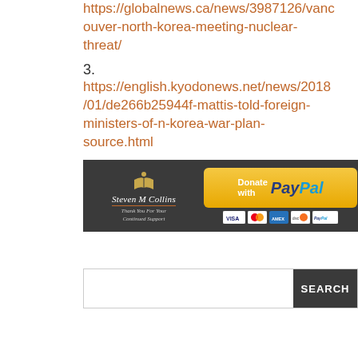https://globalnews.ca/news/3987126/vancouver-north-korea-meeting-nuclear-threat/
3. https://english.kyodonews.net/news/2018/01/de266b25944f-mattis-told-foreign-ministers-of-n-korea-war-plan-source.html
[Figure (infographic): Steven M Collins donation banner with PayPal donate button and payment method icons (Visa, Mastercard, Amex, Discover, PayPal)]
[Figure (infographic): Search bar with text input field and dark SEARCH button]